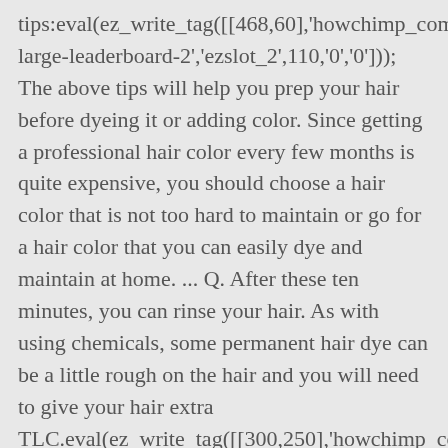tips:eval(ez_write_tag([[468,60],'howchimp_com-large-leaderboard-2','ezslot_2',110,'0','0'])); The above tips will help you prep your hair before dyeing it or adding color. Since getting a professional hair color every few months is quite expensive, you should choose a hair color that is not too hard to maintain or go for a hair color that you can easily dye and maintain at home. ... Q. After these ten minutes, you can rinse your hair. As with using chemicals, some permanent hair dye can be a little rough on the hair and you will need to give your hair extra TLC.eval(ez_write_tag([[300,250],'howchimp_com-large-mobile-banner-2','ezslot_12',162,'0','0']));